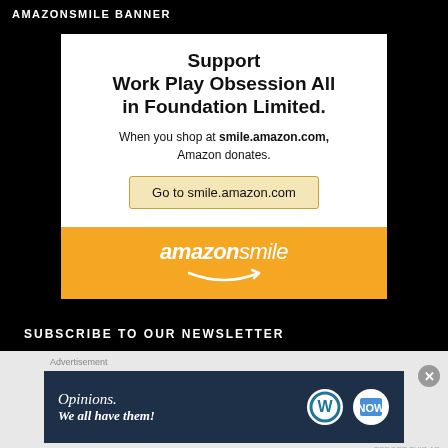AMAZONSMILE BANNER
[Figure (other): AmazonSmile donation banner. White upper section with bold text: 'Support Work Play Obsession All in Foundation Limited. When you shop at smile.amazon.com, Amazon donates.' with a button 'Go to smile.amazon.com'. Orange lower section with amazonsmile logo and smile arrow.]
SUBSCRIBE TO OUR NEWSLETTER
[Figure (other): Advertisement banner with dark blue background. Text: 'Opinions. We all have them!' with WordPress and another circular logo on the right.]